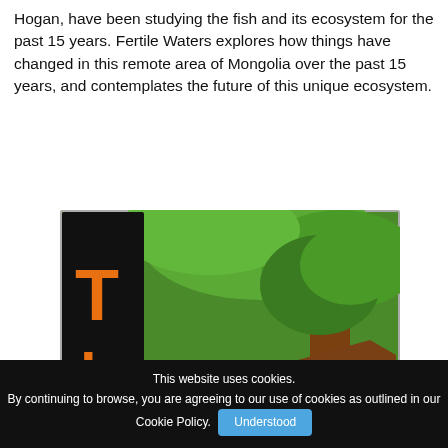Hogan, have been studying the fish and its ecosystem for the past 15 years. Fertile Waters explores how things have changed in this remote area of Mongolia over the past 15 years, and contemplates the future of this unique ecosystem.
[Figure (illustration): Illustrated screenshot of a documentary or game interface. A dark vertical bar on the left shows large orange letter 'T' and below it 'h' and partial letter. The main area shows a lush green illustrated landscape with trees, foliage, and brown earth. At the bottom, a black bar partially visible with orange text and a blue circular icon.]
This website uses cookies. By continuing to browse, you are agreeing to our use of cookies as outlined in our Cookie Policy. Understood